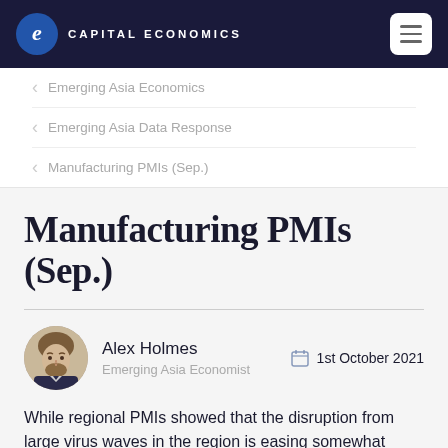CAPITAL ECONOMICS
Emerging Asia Economics
Emerging Asia Data Response
Manufacturing PMIs (Sep.)
Manufacturing PMIs (Sep.)
Alex Holmes — Emerging Asia Economist — 1st October 2021
While regional PMIs showed that the disruption from large virus waves in the region is easing somewhat